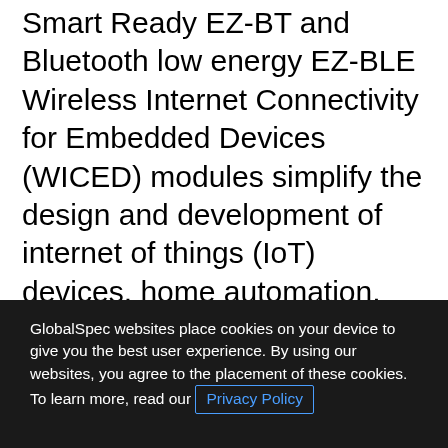Smart Ready EZ-BT and Bluetooth low energy EZ-BLE Wireless Internet Connectivity for Embedded Devices (WICED) modules simplify the design and development of internet of things (IoT) devices, home automation, medical devices and more.
The Cypress EZ-BLE and EZ-BT WICED modules have an onboard crystal oscillator, a flash memory, passive components and a Cypress CYW207xx system-on-chip (SoC) with a 32-bit Arm Cortex-M3 processor. The low-power devices support pulse-width modulation
GlobalSpec websites place cookies on your device to give you the best user experience. By using our websites, you agree to the placement of these cookies. To learn more, read our Privacy Policy